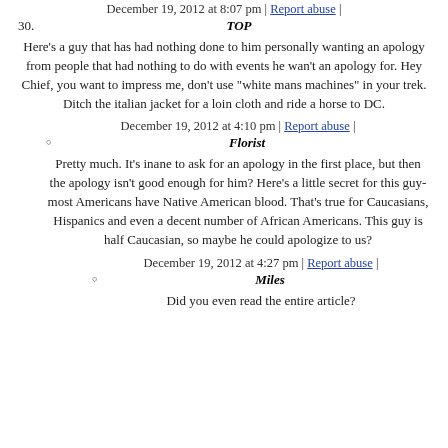December 19, 2012 at 8:07 pm | Report abuse |
30.  TOP
Here's a guy that has had nothing done to him personally wanting an apology from people that had nothing to do with events he wan't an apology for. Hey Chief, you want to impress me, don't use "white mans machines" in your trek. Ditch the italian jacket for a loin cloth and ride a horse to DC.
December 19, 2012 at 4:10 pm | Report abuse |
Florist
Pretty much. It's inane to ask for an apology in the first place, but then the apology isn't good enough for him? Here's a little secret for this guy- most Americans have Native American blood. That's true for Caucasians, Hispanics and even a decent number of African Americans. This guy is half Caucasian, so maybe he could apologize to us?
December 19, 2012 at 4:27 pm | Report abuse |
Miles
Did you even read the entire article?